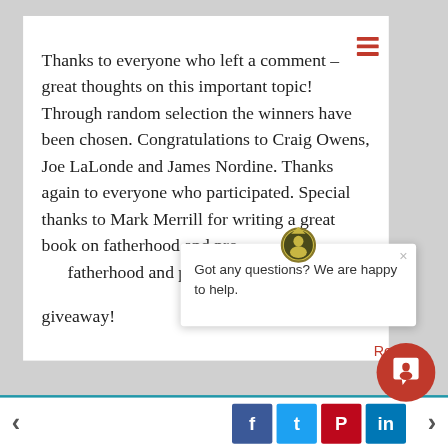Thanks to everyone who left a comment – great thoughts on this important topic! Through random selection the winners have been chosen. Congratulations to Craig Owens, Joe LaLonde and James Nordine. Thanks again to everyone who participated. Special thanks to Mark Merrill for writing a great book on fatherhood and providing a copy for the giveaway!
[Figure (screenshot): Chat popup widget with icon logo, close button (×), and text 'Got any questions? We are happy to help.' overlaying the lower right portion of the page. A round red chat bubble button is visible at bottom right.]
Reply | ← social share icons (Facebook, Twitter, Pinterest, LinkedIn) →